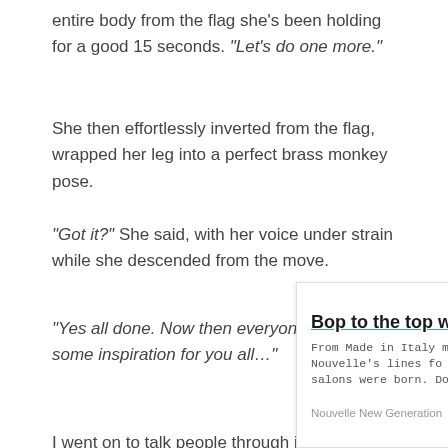entire body from the flag she’s been holding for a good 15 seconds. “Let’s do one more.”
She then effortlessly inverted from the flag, wrapped her leg into a perfect brass monkey pose.
“Got it?” She said, with her voice under strain while she descended from the move.
“Yes all done. Now then everyone, that’s some inspiration for you all…”
I went on to talk people through improving their flag technique.
[Figure (screenshot): Advertisement banner for Nouvelle New Generation. Title: 'Bop to the top with Nouvelle'. Description: 'From Made in Italy manufacturing, Nouvelle’s lines for salons were born. Don’t miss them!' with an Open button.]